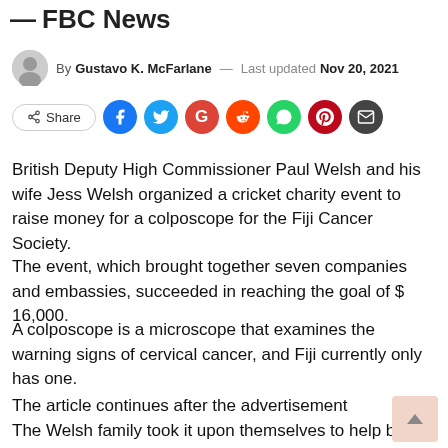— FBC News
By Gustavo K. McFarlane — Last updated Nov 20, 2021
[Figure (other): Social share buttons: Share, Facebook, Twitter, Google, Reddit, WhatsApp, Pinterest, Email]
British Deputy High Commissioner Paul Welsh and his wife Jess Welsh organized a cricket charity event to raise money for a colposcope for the Fiji Cancer Society.
The event, which brought together seven companies and embassies, succeeded in reaching the goal of $ 16,000.
A colposcope is a microscope that examines the warning signs of cervical cancer, and Fiji currently only has one.
The article continues after the advertisement
The Welsh family took it upon themselves to help buy this